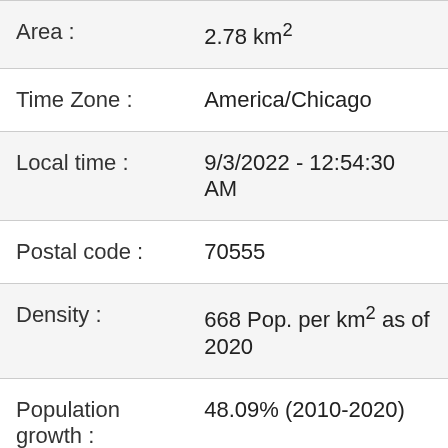| Field | Value |
| --- | --- |
| Area : | 2.78 km² |
| Time Zone : | America/Chicago |
| Local time : | 9/3/2022 - 12:54:30 AM |
| Postal code : | 70555 |
| Density : | 668 Pop. per km² as of 2020 |
| Population growth : | 48.09% (2010-2020) |
|  |  |